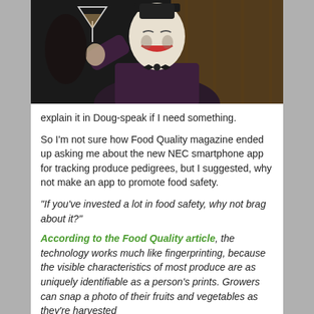[Figure (photo): A person in Joker makeup and costume (white face paint, red lips, dark hat and suit) raising a martini glass, seated in a dimly lit room with wood paneling in the background.]
explain it in Doug-speak if I need something.
So I'm not sure how Food Quality magazine ended up asking me about the new NEC smartphone app for tracking produce pedigrees, but I suggested, why not make an app to promote food safety.
“If you’ve invested a lot in food safety, why not brag about it?”
According to the Food Quality article, the technology works much like fingerprinting, because the visible characteristics of most produce are as uniquely identifiable as a person’s prints. Growers can snap a photo of their fruits and vegetables as they’re harvested